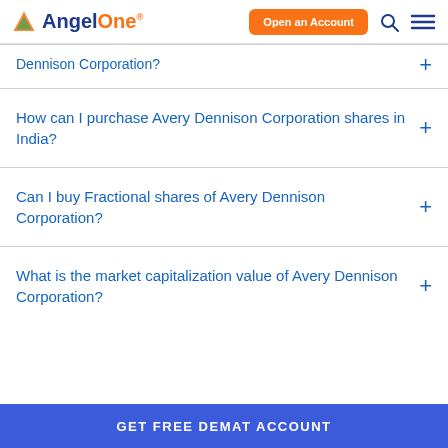AngelOne - Open an Account
Dennison Corporation?
How can I purchase Avery Dennison Corporation shares in India?
Can I buy Fractional shares of Avery Dennison Corporation?
What is the market capitalization value of Avery Dennison Corporation?
GET FREE DEMAT ACCOUNT